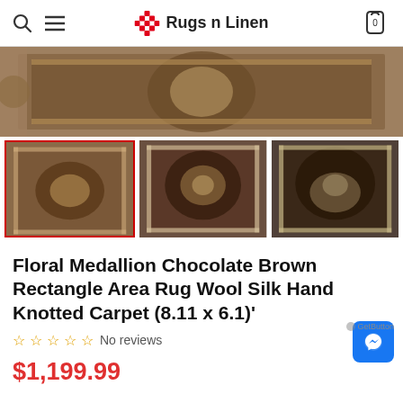Rugs n Linen
[Figure (photo): Main hero image of a chocolate brown floral medallion area rug photographed from above on a floor]
[Figure (photo): Three thumbnail images of the same chocolate brown floral medallion area rug from different angles; first thumbnail highlighted with red border]
Floral Medallion Chocolate Brown Rectangle Area Rug Wool Silk Hand Knotted Carpet (8.11 x 6.1)'
☆☆☆☆☆ No reviews
$1,199.99